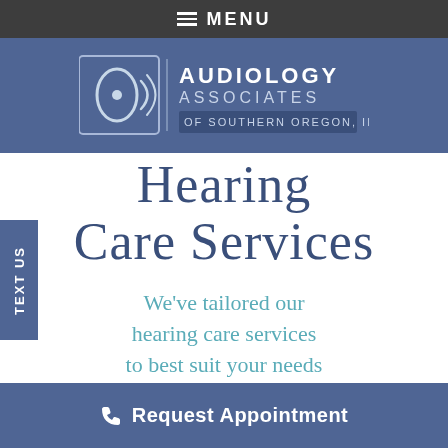≡ MENU
[Figure (logo): Audiology Associates of Southern Oregon, Inc. logo with ear/sound wave icon on blue background]
Hearing Care Services
We've tailored our hearing care services to best suit your needs
Request Appointment